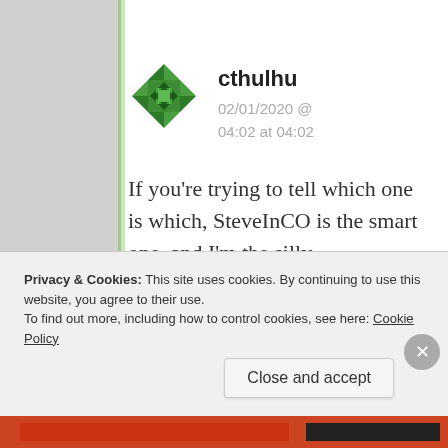cthulhu
02/01/2020 @ 04:02 at 04:02
If you’re trying to tell which one is which, SteveInCO is the smart one, and I’m the silly
Privacy & Cookies: This site uses cookies. By continuing to use this website, you agree to their use.
To find out more, including how to control cookies, see here: Cookie Policy
Close and accept